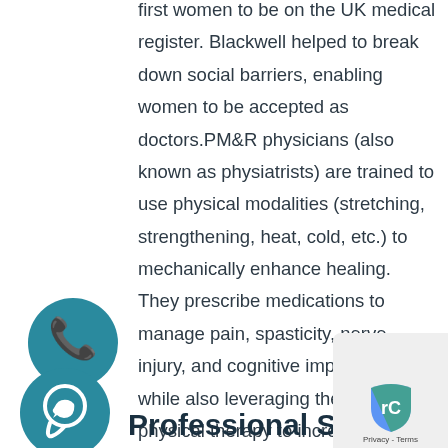first women to be on the UK medical register. Blackwell helped to break down social barriers, enabling women to be accepted as doctors.PM&R physicians (also known as physiatrists) are trained to use physical modalities (stretching, strengthening, heat, cold, etc.) to mechanically enhance healing. They prescribe medications to manage pain, spasticity, nerve injury, and cognitive impairments, while also leveraging the power of physical therapy to increase cardiopulmonary fitness, muscle strength and flexibility.
[Figure (illustration): Teal circular phone icon]
[Figure (illustration): Teal circular WhatsApp icon]
Professional Skills
[Figure (other): Privacy & Terms reCAPTCHA badge in bottom right corner]